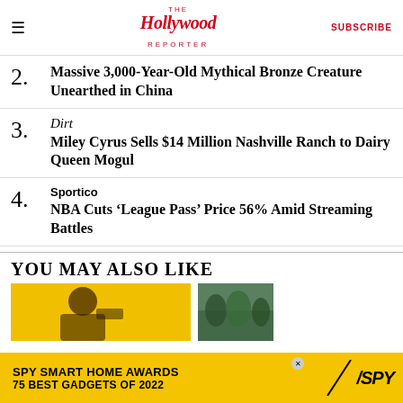The Hollywood Reporter | SUBSCRIBE
2. Massive 3,000-Year-Old Mythical Bronze Creature Unearthed in China
Dirt — 3. Miley Cyrus Sells $14 Million Nashville Ranch to Dairy Queen Mogul
Sportico — 4. NBA Cuts ‘League Pass’ Price 56% Amid Streaming Battles
YOU MAY ALSO LIKE
[Figure (photo): Thumbnail image on yellow background (person with camera/gun)]
[Figure (photo): Thumbnail image of green trees/landscape]
SPY SMART HOME AWARDS 75 BEST GADGETS OF 2022 / SPY